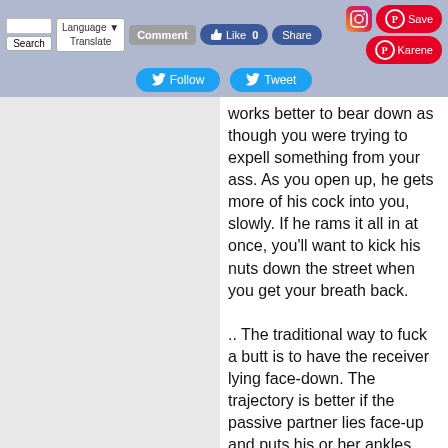Search | Language | Translate | Comment | Like 0 | Share | [Instagram] | Save | Karene | Follow | Tweet
works better to bear down as though you were trying to expell something from your ass. As you open up, he gets more of his cock into you, slowly. If he rams it all in at once, you'll want to kick his nuts down the street when you get your breath back.

.. The traditional way to fuck a butt is to have the receiver lying face-down. The trajectory is better if the passive partner lies face-up and puts his or her ankles behind the active's ears .. And while you're both fucking for Old Glory, don't forget to play with other things like tits and uninvolved genitalia.'